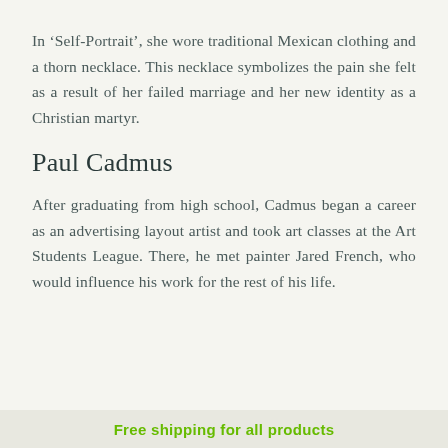In 'Self-Portrait', she wore traditional Mexican clothing and a thorn necklace. This necklace symbolizes the pain she felt as a result of her failed marriage and her new identity as a Christian martyr.
Paul Cadmus
After graduating from high school, Cadmus began a career as an advertising layout artist and took art classes at the Art Students League. There, he met painter Jared French, who would influence his work for the rest of his life.
Free shipping for all products